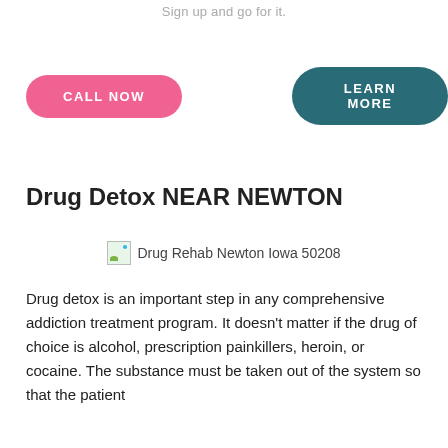Sign up and go for it.
CALL NOW
LEARN MORE
Drug Detox NEAR NEWTON
[Figure (photo): Drug Rehab Newton Iowa 50208 - broken image placeholder with alt text]
Drug Rehab Newton Iowa 50208
Drug detox is an important step in any comprehensive addiction treatment program. It doesn’t matter if the drug of choice is alcohol, prescription painkillers, heroin, or cocaine. The substance must be taken out of the system so that the patient